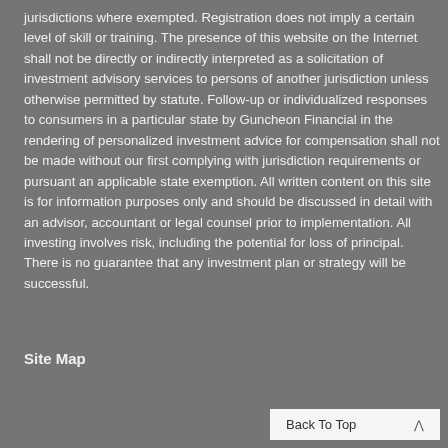jurisdictions where exempted. Registration does not imply a certain level of skill or training. The presence of this website on the Internet shall not be directly or indirectly interpreted as a solicitation of investment advisory services to persons of another jurisdiction unless otherwise permitted by statute. Follow-up or individualized responses to consumers in a particular state by Guncheon Financial in the rendering of personalized investment advice for compensation shall not be made without our first complying with jurisdiction requirements or pursuant an applicable state exemption. All written content on this site is for information purposes only and should be discussed in detail with an advisor, accountant or legal counsel prior to implementation. All investing involves risk, including the potential for loss of principal. There is no guarantee that any investment plan or strategy will be successful.
Site Map
Back To Top ^